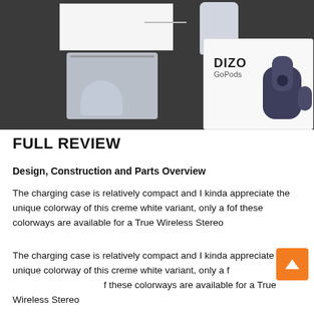[Figure (photo): Unboxing photo of DIZO GoPods true wireless earbuds. Shows product box with 'DIZO GoPods' branding, a white cardboard box, a small charging case, a fabric/mesh accessory bag with ear tips, all laid out on a dark gray surface.]
FULL REVIEW
Design, Construction and Parts Overview
The charging case is relatively compact and I kinda appreciate the unique colorway of this creme white variant, only a few of these colorways are available for a True Wireless Stereo